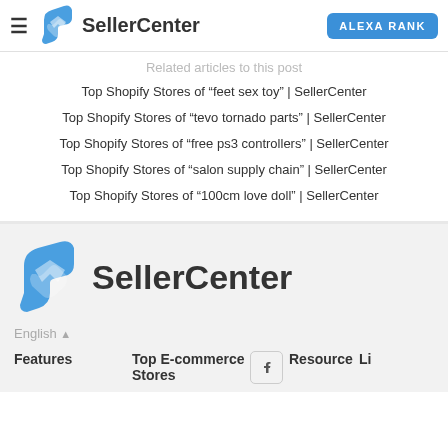SellerCenter | ALEXA RANK
Related articles to this post
Top Shopify Stores of "feet sex toy" | SellerCenter
Top Shopify Stores of "tevo tornado parts" | SellerCenter
Top Shopify Stores of "free ps3 controllers" | SellerCenter
Top Shopify Stores of "salon supply chain" | SellerCenter
Top Shopify Stores of "100cm love doll" | SellerCenter
[Figure (logo): SellerCenter logo with blue arrow/hand icon and bold text]
English ↑
Features   Top E-commerce Stores   Resource   Li